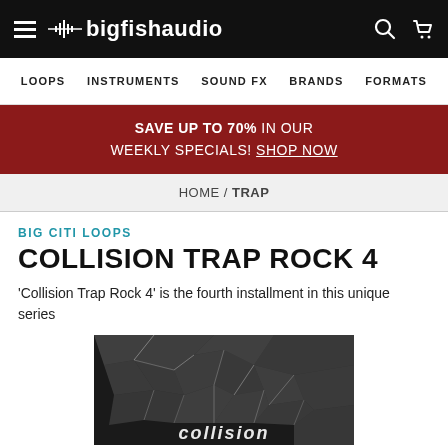bigfishaudio — hamburger menu, search, cart icons
LOOPS  INSTRUMENTS  SOUND FX  BRANDS  FORMATS
SAVE UP TO 70% IN OUR WEEKLY SPECIALS! SHOP NOW
HOME / TRAP
BIG CITI LOOPS
COLLISION TRAP ROCK 4
'Collision Trap Rock 4' is the fourth installment in this unique series
[Figure (photo): Black and white photo of shattered glass with 'collision' text visible at bottom]